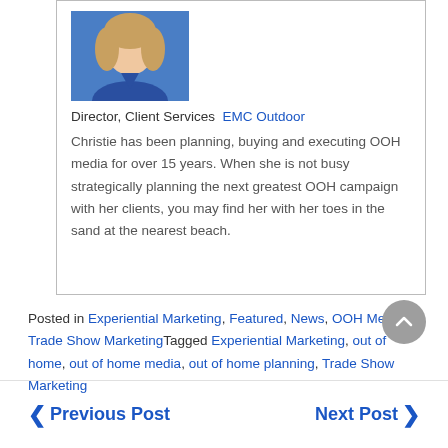[Figure (photo): Headshot photo of a woman with blonde hair wearing a blue top]
Director, Client Services  EMC Outdoor
Christie has been planning, buying and executing OOH media for over 15 years. When she is not busy strategically planning the next greatest OOH campaign with her clients, you may find her with her toes in the sand at the nearest beach.
Posted in Experiential Marketing, Featured, News, OOH Media, Trade Show MarketingTagged Experiential Marketing, out of home, out of home media, out of home planning, Trade Show Marketing
Previous Post
Next Post